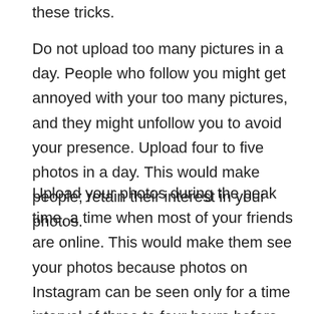these tricks.
Do not upload too many pictures in a day. People who follow you might get annoyed with your too many pictures, and they might unfollow you to avoid your presence. Upload four to five photos in a day. This would make people; retain their interest in your photos.
Upload your photos during the peak time, a time when most of your friends are online. This would make them see your photos because photos on Instagram can be seen only for a time interval of three to four hours before they disappear into the gigantic Instagram community.